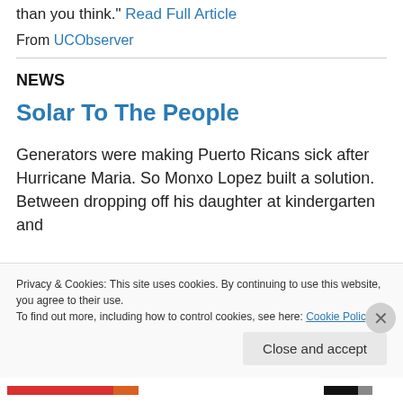than you think." Read Full Article
From UCObserver
NEWS
Solar To The People
Generators were making Puerto Ricans sick after Hurricane Maria. So Monxo Lopez built a solution. Between dropping off his daughter at kindergarten and
Privacy & Cookies: This site uses cookies. By continuing to use this website, you agree to their use.
To find out more, including how to control cookies, see here: Cookie Policy
Close and accept